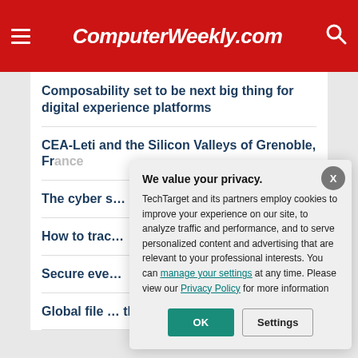ComputerWeekly.com
Composability set to be next big thing for digital experience platforms
CEA-Leti and the Silicon Valleys of Grenoble, France
The cyber s… Russia by A…
How to trac…
Secure eve…
Global file … the-sun ac…
We value your privacy. TechTarget and its partners employ cookies to improve your experience on our site, to analyze traffic and performance, and to serve personalized content and advertising that are relevant to your professional interests. You can manage your settings at any time. Please view our Privacy Policy for more information